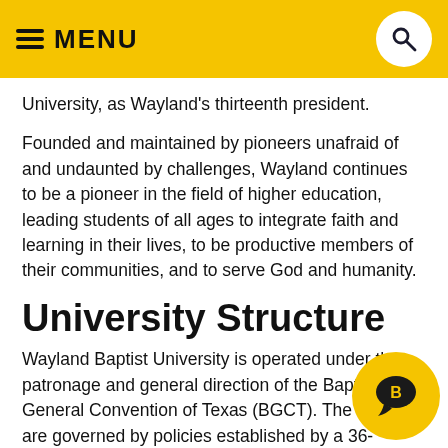≡ MENU
University, as Wayland's thirteenth president.
Founded and maintained by pioneers unafraid of and undaunted by challenges, Wayland continues to be a pioneer in the field of higher education, leading students of all ages to integrate faith and learning in their lives, to be productive members of their communities, and to serve God and humanity.
University Structure
Wayland Baptist University is operated under the patronage and general direction of the Baptist General Convention of Texas (BGCT). The affairs are governed by policies established by a 36-member Board of Trustees, a simple majority of whom are appointed by the BGCT. Appointed by the Board of Trustees, the